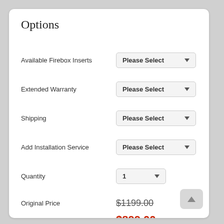Options
Available Firebox Inserts — Please Select
Extended Warranty — Please Select
Shipping — Please Select
Add Installation Service — Please Select
Quantity — 1
Original Price $1199.00
Sale Price $899.00
Lowest Price Guaranteed